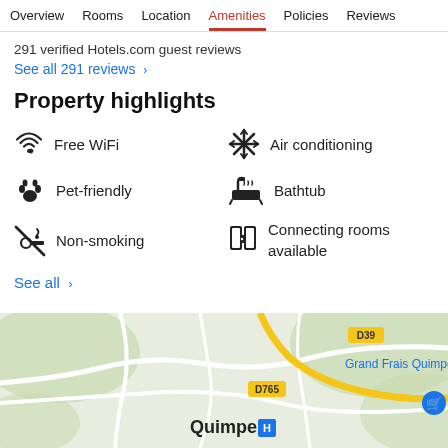Overview  Rooms  Location  Amenities  Policies  Reviews
291 verified Hotels.com guest reviews
See all 291 reviews  >
Property highlights
Free WiFi
Air conditioning
Pet-friendly
Bathtub
Non-smoking
Connecting rooms available
See all  >
[Figure (map): Google map showing Quimper area with road labels D39, D765, Grand Frais Quimper label, and Quimper city label]